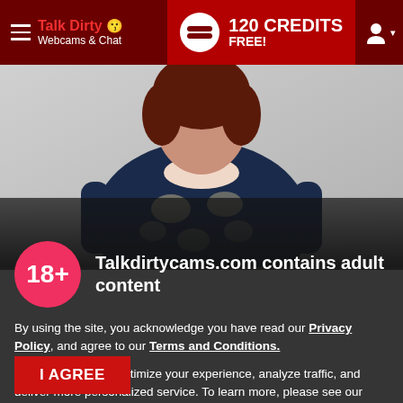Talk Dirty Webcams & Chat — 120 CREDITS FREE!
[Figure (photo): Woman wearing a dark navy floral dress, upper body visible, against a light background. The lower portion is darkened by a semi-transparent overlay.]
Talkdirtycams.com contains adult content
By using the site, you acknowledge you have read our Privacy Policy, and agree to our Terms and Conditions.
We use cookies to optimize your experience, analyze traffic, and deliver more personalized service. To learn more, please see our Privacy Policy.
I AGREE